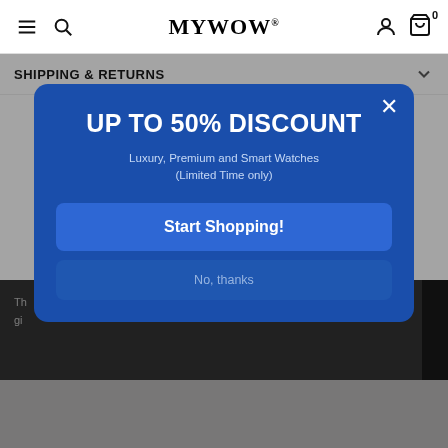MYWOW
SHIPPING & RETURNS
[Figure (screenshot): E-commerce popup modal with dark blue background showing 'UP TO 50% DISCOUNT' offer for Luxury, Premium and Smart Watches with Start Shopping button and No thanks option]
UP TO 50% DISCOUNT
Luxury, Premium and Smart Watches (Limited Time only)
Start Shopping!
No, thanks